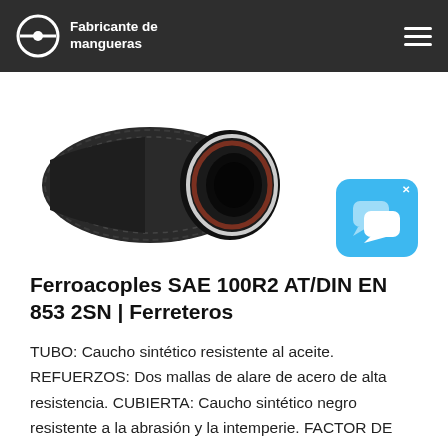Fabricante de mangueras
[Figure (photo): Close-up photo of a black hydraulic rubber hose with spiral wire reinforcement, showing the cut end cross-section with white and red inner layers visible.]
[Figure (other): Blue chat widget icon with two speech bubbles and an X close button.]
Ferroacoples SAE 100R2 AT/DIN EN 853 2SN | Ferreteros
TUBO: Caucho sintético resistente al aceite. REFUERZOS: Dos mallas de alare de acero de alta resistencia. CUBIERTA: Caucho sintético negro resistente a la abrasión y la intemperie. FACTOR DE SEGURIDAD: 4:1 APLICACIONES: Sistemas hidráulicos y de aceite de lubricación de media presión, comúnmente empleada en